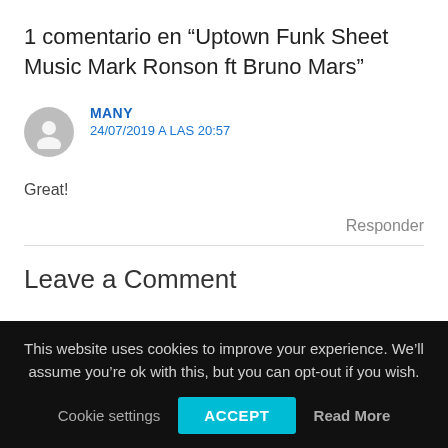1 comentario en “Uptown Funk Sheet Music Mark Ronson ft Bruno Mars”
MANY
24/07/2019 A LAS 20:57
Great!
Responder
Leave a Comment
This website uses cookies to improve your experience. We’ll assume you’re ok with this, but you can opt-out if you wish.
Cookie settings  ACCEPT  Read More